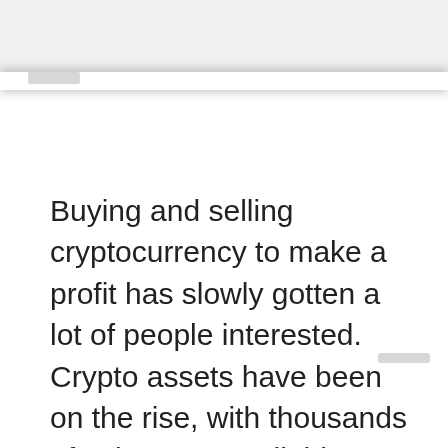Buying and selling cryptocurrency to make a profit has slowly gotten a lot of people interested. Crypto assets have been on the rise, with thousands of coins now available to trade in the market. Ever since Bitcoin experienced its highest market price of about